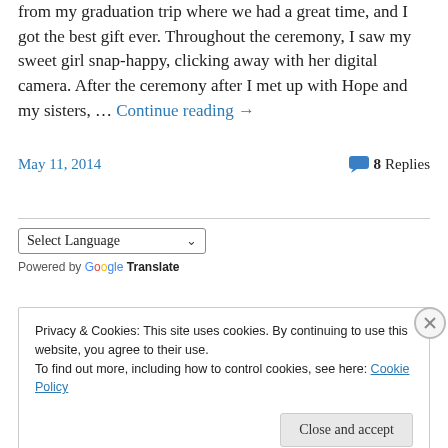from my graduation trip where we had a great time, and I got the best gift ever. Throughout the ceremony, I saw my sweet girl snap-happy, clicking away with her digital camera. After the ceremony after I met up with Hope and my sisters, … Continue reading →
May 11, 2014
8 Replies
Select Language
Powered by Google Translate
Privacy & Cookies: This site uses cookies. By continuing to use this website, you agree to their use.
To find out more, including how to control cookies, see here: Cookie Policy
Close and accept